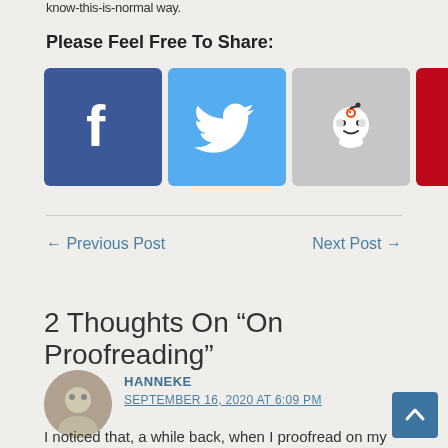know-this-is-normal way.
Please Feel Free To Share:
[Figure (infographic): Row of social media share buttons: Facebook (blue), Twitter (light blue), Reddit (gray with alien), Pinterest (red with P), LinkedIn (dark teal with 'in'), Tumblr (dark blue with 't.'), Email (gray with envelope)]
← Previous Post
Next Post →
2 Thoughts On “On Proofreading”
HANNEKE
SEPTEMBER 16, 2020 AT 6:09 PM
I noticed that, a while back, when I proofread on my